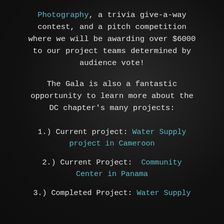Photography, a trivia give-a-way contest, and a pitch competition where we will be awarding over $6000 to our project teams determined by audience vote!
The Gala is also a fantastic opportunity to learn more about the DC chapter's many projects:
1.) Current project: Water Supply project in Cameroon
2.) Current Project: Community Center in Panama
3.) Completed Project: Water Supply